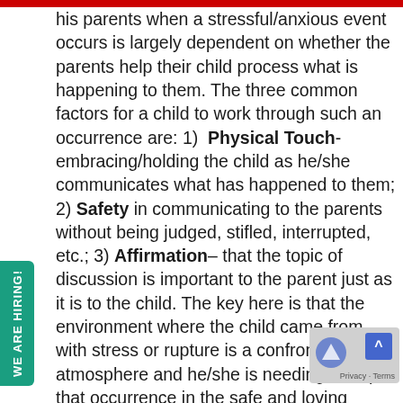his parents when a stressful/anxious event occurs is largely dependent on whether the parents help their child process what is happening to them. The three common factors for a child to work through such an occurrence are: 1) Physical Touch- embracing/holding the child as he/she communicates what has happened to them; 2) Safety in communicating to the parents without being judged, stifled, interrupted, etc.; 3) Affirmation– that the topic of discussion is important to the parent just as it is to the child. The key here is that the environment where the child came from with stress or rupture is a confrontational atmosphere and he/she is needing to dep that occurrence in the safe and loving